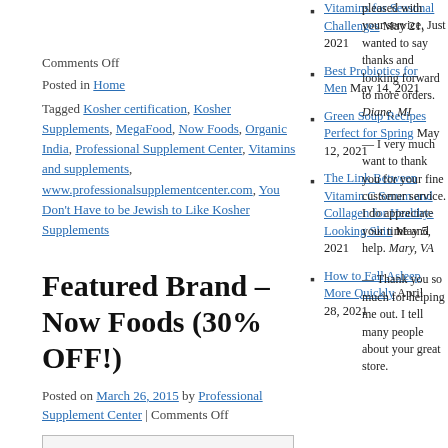Comments Off
Posted in Home
Tagged Kosher certification, Kosher Supplements, MegaFood, Now Foods, Organic India, Professional Supplement Center, Vitamins and supplements, www.professionalsupplementcenter.com, You Don't Have to be Jewish to Like Kosher Supplements
Featured Brand – Now Foods (30% OFF!)
Posted on March 26, 2015 by Professional Supplement Center | Comments Off
Vitamins for Seasonal Challenges May 21, 2021
Best Probiotics for Men May 14, 2021
Green Soup Recipes Perfect for Spring May 12, 2021
The Link Between Vitamin C Serum and Collagen for Healthy-Looking Skin May 5, 2021
How to Fall Asleep More Quickly April 28, 2021
pleased with your service. Just wanted to say thanks and looking forward to more orders. Diane, MI
— I very much want to thank you for your fine customer service. I do appreciate your time and help. Mary, VA
— Thank you so much for helping me out. I tell many people about your great store.